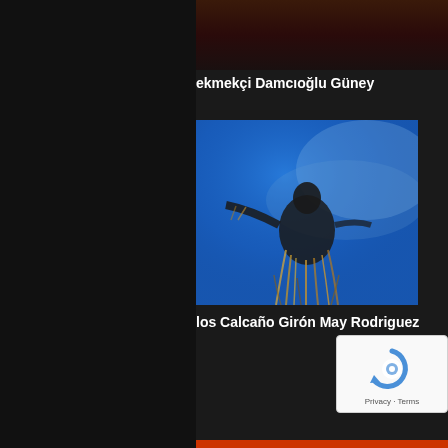[Figure (photo): Dark theatrical/cinema image at the top, showing a dark reddish-brown stage or backdrop scene]
ekmekçi Damcıoğlu Güney
[Figure (photo): A performer on stage against a vivid blue background, wearing a costume with straw/plant-like elements, arms outstretched]
los Calcaño Girón May Rodriguez
[Figure (other): Google reCAPTCHA widget showing the reCAPTCHA logo with Privacy and Terms links]